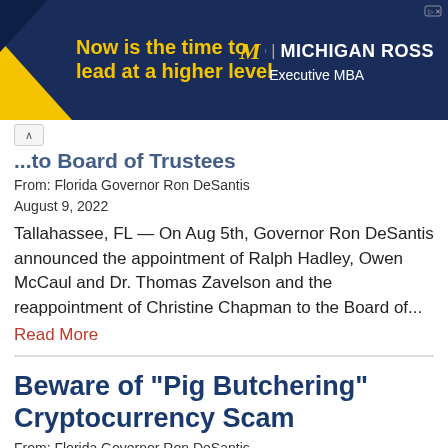[Figure (other): Advertisement banner for Michigan Ross Executive MBA with yellow and dark blue design, text: 'Now is the time to lead at a higher level' and Michigan Ross logo]
...to Board of Trustees
From: Florida Governor Ron DeSantis
August 9, 2022
Tallahassee, FL — On Aug 5th, Governor Ron DeSantis announced the appointment of Ralph Hadley, Owen McCaul and Dr. Thomas Zavelson and the reappointment of Christine Chapman to the Board of...
Read More
Beware of "Pig Butchering" Cryptocurrency Scam
From: Florida Governor Ron DeSantis
August 8, 2022
Floridians, This week, I issued a consumer alert...